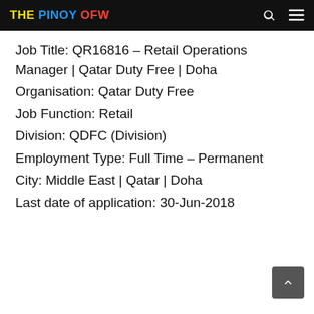THE PINOY OFW
Job Title: QR16816 – Retail Operations Manager | Qatar Duty Free | Doha
Organisation: Qatar Duty Free
Job Function: Retail
Division: QDFC (Division)
Employment Type: Full Time – Permanent
City: Middle East | Qatar | Doha
Last date of application: 30-Jun-2018